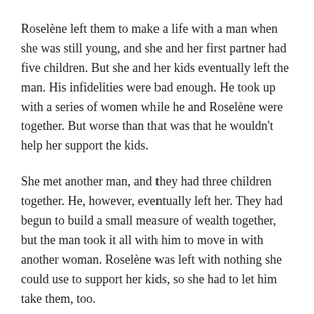Roselène left them to make a life with a man when she was still young, and she and her first partner had five children. But she and her kids eventually left the man. His infidelities were bad enough. He took up with a series of women while he and Roselène were together. But worse than that was that he wouldn't help her support the kids.
She met another man, and they had three children together. He, however, eventually left her. They had begun to build a small measure of wealth together, but the man took it all with him to move in with another woman. Roselène was left with nothing she could use to support her kids, so she had to let him take them, too.
By then, her first set of children were older. She was left with only the youngest boy, a teenager. The two lived together in a small shack, depending on occasional gifts from neighbors or from her three oldest children, who had left Haiti to work